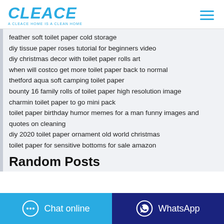CLEACE — A CLEACE HOME IS A CLEAN HOME
feather soft toilet paper cold storage
diy tissue paper roses tutorial for beginners video
diy christmas decor with toilet paper rolls art
when will costco get more toilet paper back to normal
thetford aqua soft camping toilet paper
bounty 16 family rolls of toilet paper high resolution image
charmin toilet paper to go mini pack
toilet paper birthday humor memes for a man funny images and quotes on cleaning
diy 2020 toilet paper ornament old world christmas
toilet paper for sensitive bottoms for sale amazon
Random Posts
Chat online | WhatsApp